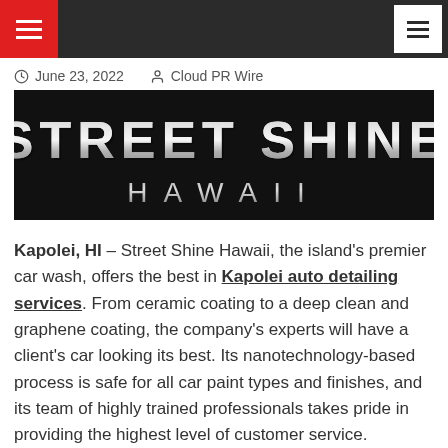Navigation bar with hamburger menus
June 23, 2022   Cloud PR Wire
[Figure (logo): Street Shine Hawaii logo — dark background with large metallic chrome/silver text reading STREET SHINE on top and HAWAII below in spaced letters]
Kapolei, HI – Street Shine Hawaii, the island's premier car wash, offers the best in Kapolei auto detailing services. From ceramic coating to a deep clean and graphene coating, the company's experts will have a client's car looking its best. Its nanotechnology-based process is safe for all car paint types and finishes, and its team of highly trained professionals takes pride in providing the highest level of customer service.
"When you want to spruce up your ride, the last thing you want is a subpar car wash that does more harm